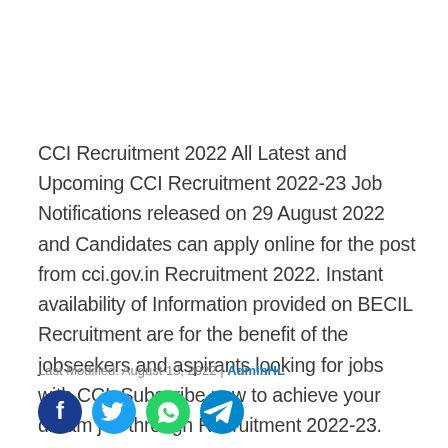CCI Recruitment 2022 All Latest and Upcoming CCI Recruitment 2022-23 Job Notifications released on 29 August 2022 and Candidates can apply online for the post from cci.gov.in Recruitment 2022. Instant availability of Information provided on BECIL Recruitment are for the benefit of the jobseekers and aspirants looking for jobs with CCI. Subscribe now to achieve your dream job through Recruitment 2022-23.
Last Modified: August 13, 2022 | AdminHL
[Figure (infographic): Social media share icons: Facebook (dark blue), Twitter (light blue), WhatsApp (green), Telegram (blue)]